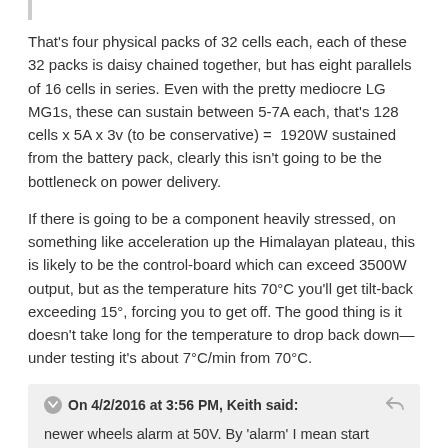That's four physical packs of 32 cells each, each of these 32 packs is daisy chained together, but has eight parallels of 16 cells in series. Even with the pretty mediocre LG MG1s, these can sustain between 5-7A each, that's 128 cells x 5A x 3v (to be conservative) =  1920W sustained from the battery pack, clearly this isn't going to be the bottleneck on power delivery.
If there is going to be a component heavily stressed, on something like acceleration up the Himalayan plateau, this is likely to be the control-board which can exceed 3500W output, but as the temperature hits 70°C you'll get tilt-back exceeding 15°, forcing you to get off. The good thing is it doesn't take long for the temperature to drop back down—under testing it's about 7°C/min from 70°C.
On 4/2/2016 at 3:56 PM, Keith said: newer wheels alarm at 50V. By 'alarm' I mean start beeping and then tilting back